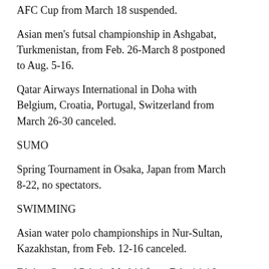AFC Cup from March 18 suspended.
Asian men's futsal championship in Ashgabat, Turkmenistan, from Feb. 26-March 8 postponed to Aug. 5-16.
Qatar Airways International in Doha with Belgium, Croatia, Portugal, Switzerland from March 26-30 canceled.
SUMO
Spring Tournament in Osaka, Japan from March 8-22, no spectators.
SWIMMING
Asian water polo championships in Nur-Sultan, Kazakhstan, from Feb. 12-16 canceled.
Diving Grand Prix in Madrid from Feb. 14-16: China team withdrew.